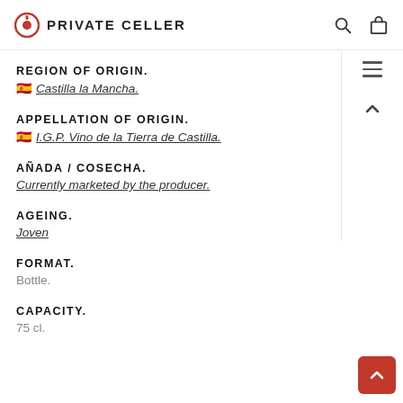PRIVATE CELLER
REGION OF ORIGIN.
🇪🇸 Castilla la Mancha.
APPELLATION OF ORIGIN.
🇪🇸 I.G.P. Vino de la Tierra de Castilla.
AÑADA / COSECHA.
Currently marketed by the producer.
AGEING.
Joven
FORMAT.
Bottle.
CAPACITY.
75 cl.